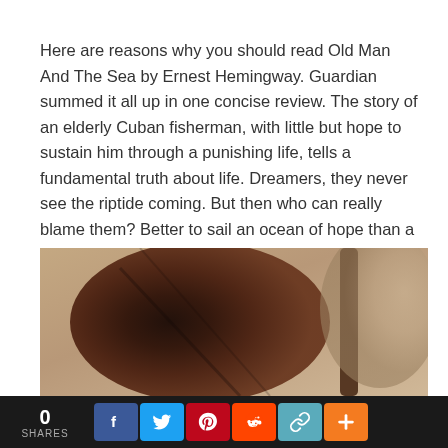Here are reasons why you should read Old Man And The Sea by Ernest Hemingway. Guardian summed it all up in one concise review. The story of an elderly Cuban fisherman, with little but hope to sustain him through a punishing life, tells a fundamental truth about life. Dreamers, they never see the riptide coming. But then who can really blame them? Better to sail an ocean of hope than a sea of despair. Never mind what lies beneath a world without dreamers would be a nightmare.
[Figure (photo): Close-up photograph of what appears to be a person's back or torso, dark brown tones, with a blurred beige/tan background suggesting an outdoor scene]
0 SHARES | Facebook | Twitter | Pinterest | Reddit | Link | Plus